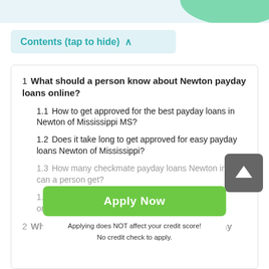Contents (tap to hide) ∧
1  What should a person know about Newton payday loans online?
1.1  How to get approved for the best payday loans in Newton of Mississippi MS?
1.2  Does it take long to get approved for easy payday loans Newton of Mississippi?
1.3  How many checkmate payday loans Newton in MS can a person get?
1.4  What additional fees a loaner needs to pay for online payday loans Newton in Mississippi?
2  What steps should a person take to get payday
[Figure (other): Green Apply Now button with text 'Apply Now' and disclaimer 'Applying does NOT affect your credit score! No credit check to apply.']
[Figure (other): Gray scroll-to-top button with upward arrow icon]